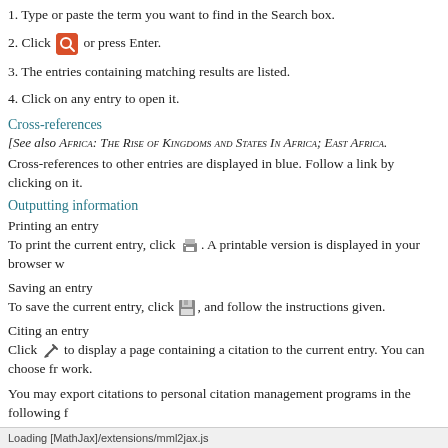1. Type or paste the term you want to find in the Search box.
2. Click [search icon] or press Enter.
3. The entries containing matching results are listed.
4. Click on any entry to open it.
Cross-references
[See also Africa: The Rise of Kingdoms and States In Africa; East Africa.
Cross-references to other entries are displayed in blue. Follow a link by clicking on it.
Outputting information
Printing an entry
To print the current entry, click [printer icon]. A printable version is displayed in your browser w
Saving an entry
To save the current entry, click [floppy icon], and follow the instructions given.
Citing an entry
Click [pencil icon] to display a page containing a citation to the current entry. You can choose fr work.
You may export citations to personal citation management programs in the following f
Loading [MathJax]/extensions/mml2jax.js